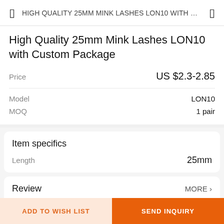HIGH QUALITY 25MM MINK LASHES LON10 WITH C…
High Quality 25mm Mink Lashes LON10 with Custom Package
Price: US $2.3-2.85
Model: LON10
MOQ: 1 pair
Item specifics
Length: 25mm
Review
MORE ›
ADD REVIEW